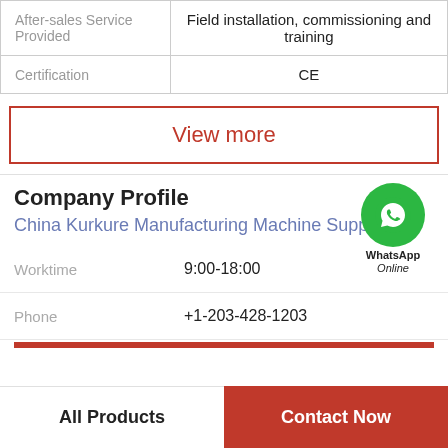| Field | Value |
| --- | --- |
| After-sales Service Provided | Field installation, commissioning and training |
| Certification | CE |
View more
Company Profile
China Kurkure Manufacturing Machine Supplier
[Figure (illustration): WhatsApp Online chat bubble icon with green circle and phone handset, labeled WhatsApp Online]
Worktime  9:00-18:00
Phone  +1-203-428-1203
All Products
Contact Now